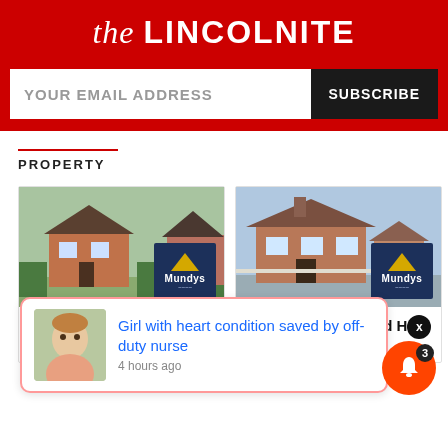the LINCOLNITE
YOUR EMAIL ADDRESS
SUBSCRIBE
PROPERTY
[Figure (photo): 4 bedroom Semi-Detached House property photo with Mundys estate agent logo]
4 bedroom Semi-Detached House
[Figure (photo): 4 bedroom Detached House property photo with Mundys estate agent logo]
4 bedroom Detached House
[Figure (photo): 3 bedroom Detached property photo (partially visible)]
3 be Det
Girl with heart condition saved by off-duty nurse
4 hours ago